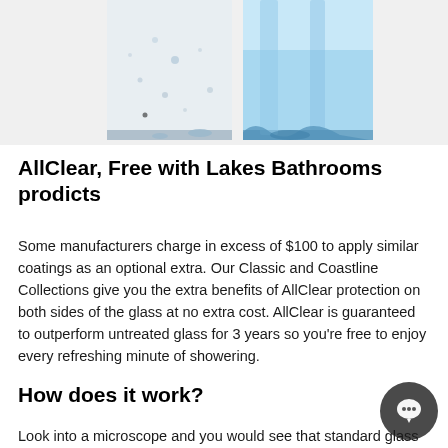[Figure (photo): Two glass panels side by side — left panel has water droplets/splashes on clear frosted glass; right panel shows clean clear glass with blue water pouring over it, illustrating the AllClear coating comparison.]
AllClear, Free with Lakes Bathrooms prodicts
Some manufacturers charge in excess of $100 to apply similar coatings as an optional extra. Our Classic and Coastline Collections give you the extra benefits of AllClear protection on both sides of the glass at no extra cost. AllClear is guaranteed to outperform untreated glass for 3 years so you're free to enjoy every refreshing minute of showering.
How does it work?
Look into a microscope and you would see that standard glass